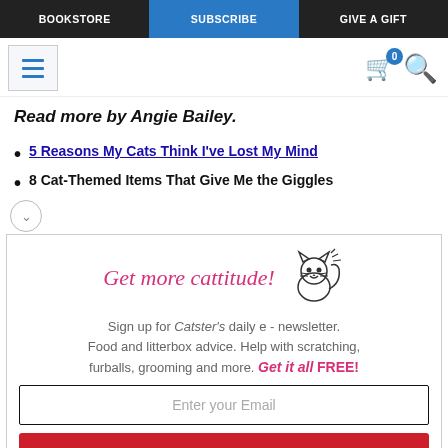BOOKSTORE | SUBSCRIBE | GIVE A GIFT
[Figure (screenshot): Website navigation header with hamburger menu icon, cart icon with badge showing 0, and search icon]
Read more by Angie Bailey.
5 Reasons My Cats Think I've Lost My Mind
8 Cat-Themed Items That Give Me the Giggles
[Figure (illustration): Cartoon cat illustration with whiskers and a happy expression]
Get more cattitude!
Sign up for Catster's daily e - newsletter. Food and litterbox advice. Help with scratching, furballs, grooming and more. Get it all FREE!
Enter your Email
YES! SIGN ME UP